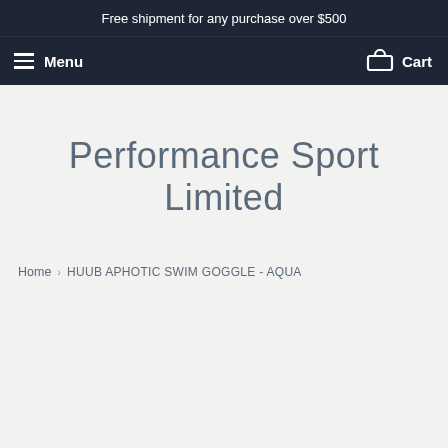Free shipment for any purchase over $500
Menu  Cart
Performance Sport Limited
Home > HUUB APHOTIC SWIM GOGGLE - AQUA